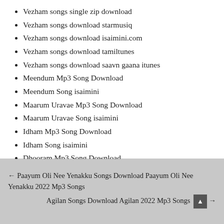Vezham songs single zip download
Vezham songs download starmusiq
Vezham songs download isaimini.com
Vezham songs download tamiltunes
Vezham songs download saavn gaana itunes
Meendum Mp3 Song Download
Meendum Song isaimini
Maarum Uravae Mp3 Song Download
Maarum Uravae Song isaimini
Idham Mp3 Song Download
Idham Song isaimini
Dhooram Mp3 Song Download
Dhooram Song isaimini
← Paayum Oli Nee Yenakku Songs Download Paayum Oli Nee Yenakku 2022 Mp3 Songs
Agilan Songs Download Agilan 2022 Mp3 Songs →